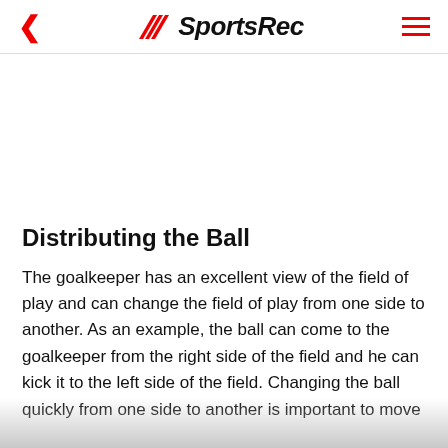SportsRec
Distributing the Ball
The goalkeeper has an excellent view of the field of play and can change the field of play from one side to another. As an example, the ball can come to the goalkeeper from the right side of the field and he can kick it to the left side of the field. Changing the ball quickly from one side to another is important to move